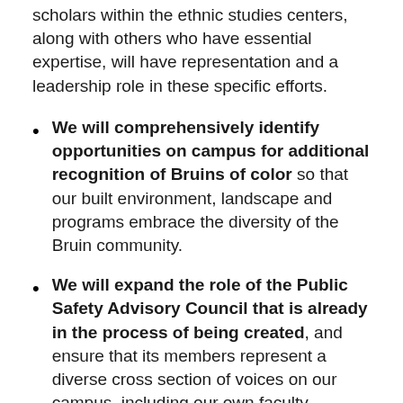scholars within the ethnic studies centers, along with others who have essential expertise, will have representation and a leadership role in these specific efforts.
We will comprehensively identify opportunities on campus for additional recognition of Bruins of color so that our built environment, landscape and programs embrace the diversity of the Bruin community.
We will expand the role of the Public Safety Advisory Council that is already in the process of being created, and ensure that its members represent a diverse cross section of voices on our campus, including our own faculty experts. As a first set of tasks, the new council's work will include reviewing